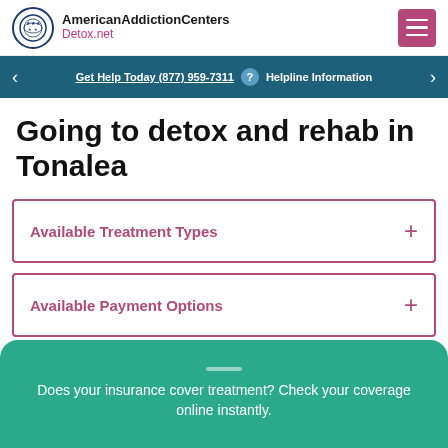American Addiction Centers Detox.net
Get Help Today (877) 959-7311  Helpline Information
Going to detox and rehab in Tonalea
Available Treatment Types
Available Payment Options
Does your insurance cover treatment? Check your coverage online instantly.